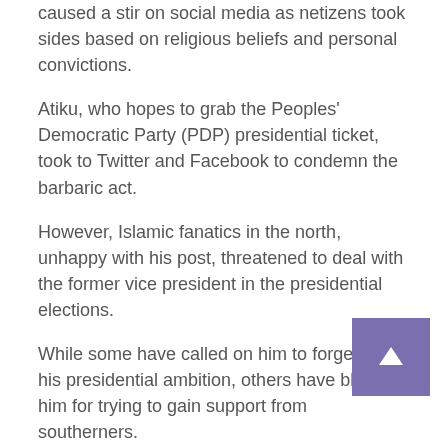caused a stir on social media as netizens took sides based on religious beliefs and personal convictions.
Atiku, who hopes to grab the Peoples' Democratic Party (PDP) presidential ticket, took to Twitter and Facebook to condemn the barbaric act.
However, Islamic fanatics in the north, unhappy with his post, threatened to deal with the former vice president in the presidential elections.
While some have called on him to forget about his presidential ambition, others have blamed him for trying to gain support from southerners.
Following the threats, Atiku, who is generally considered a moderate statesman, deleted his post less than an hour after it was posted.
Central Bank of Nigeria Governor Godwin Emefiele has told Nigerians to expect news of his presidential